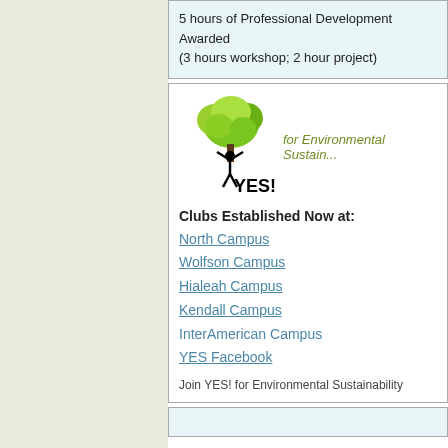5 hours of Professional Development Awarded
(3 hours workshop; 2 hour project)
[Figure (logo): YES! logo with green tree and person figure, with tagline 'for Environmental Sustainability']
Clubs Established Now at:
North Campus
Wolfson Campus
Hialeah Campus
Kendall Campus
InterAmerican Campus
YES Facebook
Join YES! for Environmental Sustainability
EEI Organic Gardens Started in the